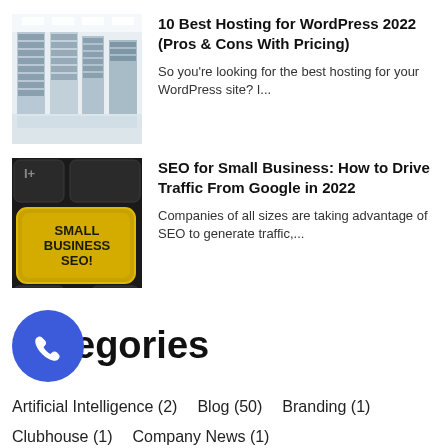[Figure (photo): Data center / server room interior — white server racks in a brightly lit room]
10 Best Hosting for WordPress 2022 (Pros & Cons With Pricing)
So you're looking for the best hosting for your WordPress site? I...
[Figure (photo): Keyboard key with golden square labeled 'SMALL BUSINESS SEO!' on black background]
SEO for Small Business: How to Drive Traffic From Google in 2022
Companies of all sizes are taking advantage of SEO to generate traffic,...
Categories
Artificial Intelligence (2)   Blog (50)   Branding (1)
Clubhouse (1)   Company News (1)